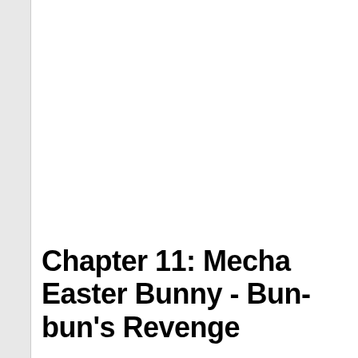Chapter 11: Mecha Easter Bunny - Bun-bun's Revenge